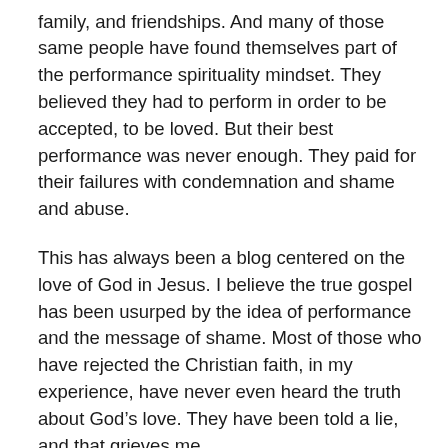family, and friendships. And many of those same people have found themselves part of the performance spirituality mindset. They believed they had to perform in order to be accepted, to be loved. But their best performance was never enough. They paid for their failures with condemnation and shame and abuse.
This has always been a blog centered on the love of God in Jesus. I believe the true gospel has been usurped by the idea of performance and the message of shame. Most of those who have rejected the Christian faith, in my experience, have never even heard the truth about God’s love. They have been told a lie, and that grieves me.
In much the same way, and not coincidentally, the victim of the narcissist has often not understood her/his own value as a person. The insufficiency of their performance, and the shame and self-doubt that results from it, opens their